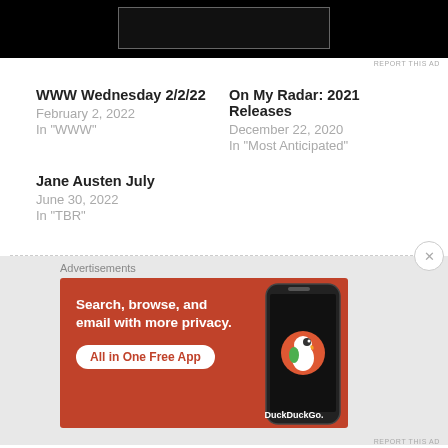[Figure (other): Black advertisement banner at top of page with dark border rectangle inside]
REPORT THIS AD
WWW Wednesday 2/2/22
February 2, 2022
In "WWW"
On My Radar: 2021 Releases
December 22, 2020
In "Most Anticipated"
Jane Austen July
June 30, 2022
In "TBR"
[Figure (other): DuckDuckGo advertisement banner: orange background with text 'Search, browse, and email with more privacy. All in One Free App' and phone image with DuckDuckGo logo]
REPORT THIS AD